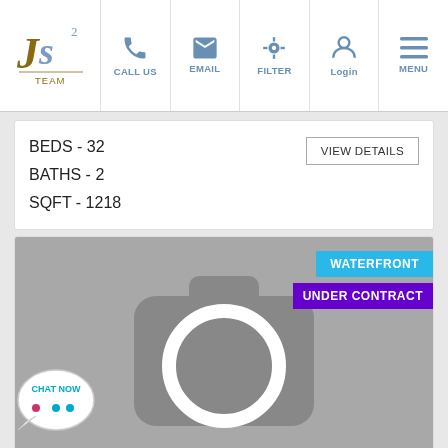JS TEAM — CALL US | EMAIL | FILTER | Login | MENU
BEDS - 32
BATHS - 2
SQFT - 1218
VIEW DETAILS
[Figure (screenshot): Real estate listing card showing a placeholder camera icon image with WATERFRONT badge in blue and UNDER CONTRACT badge in purple]
[Figure (other): Chat Now bubble widget in bottom left corner]